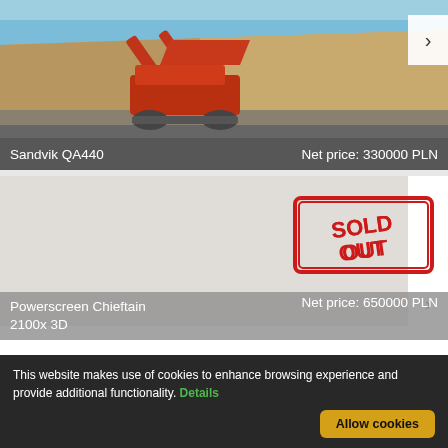[Figure (photo): Sandvik QA440 mobile screening machine in a quarry setting with sandy cliff face and blue sky background. Navigation arrow on right side.]
Sandvik QA440    Net price: 330000 PLN
[Figure (photo): Product listing area with SOLD OUT stamp overlay. Navigation arrow on right side. Powerscreen Chieftain 2100x 3D label bar below.]
Powerscreen Chieftain 2100x 3D    Net price: 650000 PLN
This website makes use of cookies to enhance browsing experience and provide additional functionality. Details
Allow cookies